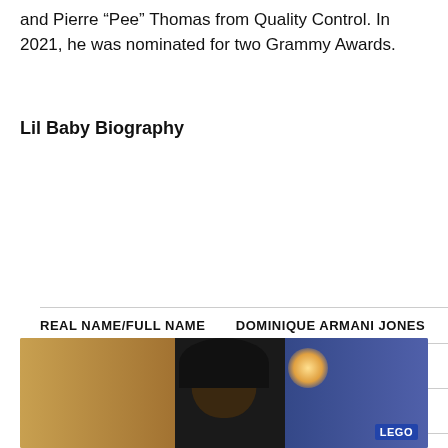and Pierre “Pee” Thomas from Quality Control. In 2021, he was nominated for two Grammy Awards.
Lil Baby Biography
| REAL NAME/FULL NAME | DOMINIQUE ARMANI JONES |
| --- | --- |
| Wife/Spouse Name: | No |
| Kids/Children Name: | Yes 2 Kids |
| Profession: | Rapper |
| Net Worth: | $6 million |
[Figure (photo): Photo of Lil Baby at an event, dark background with warm lighting and LEGO branding visible]